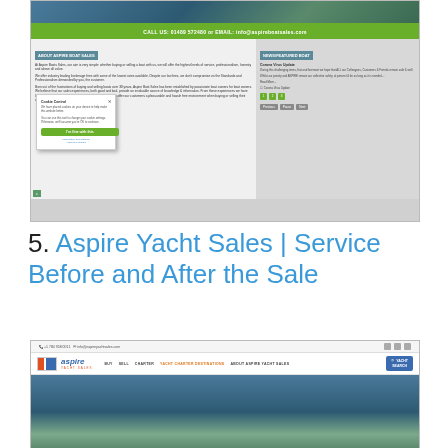[Figure (screenshot): Screenshot of Aspire Boat Sales website showing the homepage with about section, cookie consent popup, news/featured boat section, green header bar with phone number and email, and navigation.]
5. Aspire Yacht Sales | Service Before and After the Sale
[Figure (screenshot): Screenshot of Aspire Yacht Sales website showing the header with logo, navigation links (BUY, SELL, CHARTER, YACHT CHARTER DESTINATIONS, ABOUT ASPIRE YACHT SALES), yacht search button, social icons, and a marina/boat image below.]